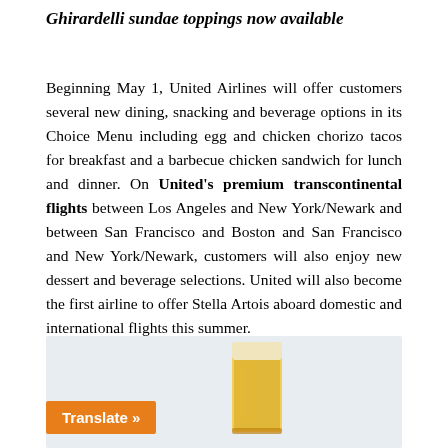Ghirardelli sundae toppings now available
Beginning May 1, United Airlines will offer customers several new dining, snacking and beverage options in its Choice Menu including egg and chicken chorizo tacos for breakfast and a barbecue chicken sandwich for lunch and dinner. On United's premium transcontinental flights between Los Angeles and New York/Newark and between San Francisco and Boston and San Francisco and New York/Newark, customers will also enjoy new dessert and beverage selections. United will also become the first airline to offer Stella Artois aboard domestic and international flights this summer.
[Figure (photo): A partially visible image showing a beer glass with a light-colored beverage, with an orange 'Translate »' button overlay at the bottom left]